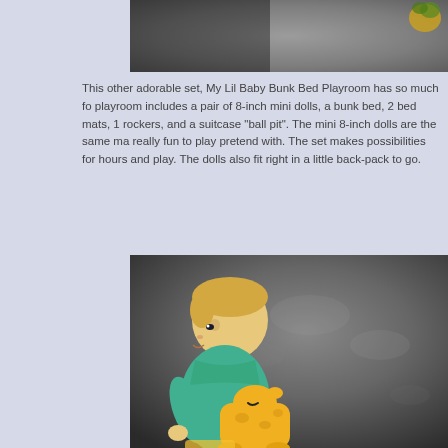[Figure (photo): Top portion of a photo showing a dark/grey background with a small orange/green leaf or flower element visible in the upper right corner.]
This other adorable set, My Lil Baby Bunk Bed Playroom has so much for playroom includes a pair of 8-inch mini dolls, a bunk bed, 2 bed mats, 1 rockers, and a suitcase "ball pit".  The mini 8-inch dolls are the same ma really fun to play pretend with.  The set makes possibilities for hours and play.  The dolls also fit right in a little back-pack to go.
[Figure (photo): Photo of a small baby doll with blonde hair wearing a teal/mint green shirt, shown in profile view riding or leaning on a yellow giraffe toy, set against a dark grey textured carpet background.]